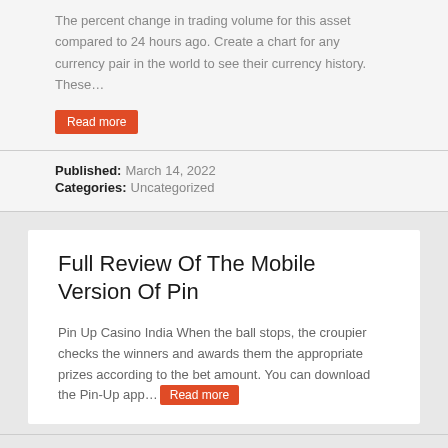The percent change in trading volume for this asset compared to 24 hours ago. Create a chart for any currency pair in the world to see their currency history. These…
Read more
Published:  March 14, 2022
Categories:  Uncategorized
Full Review Of The Mobile Version Of Pin
Pin Up Casino India When the ball stops, the croupier checks the winners and awards them the appropriate prizes according to the bet amount. You can download the Pin-Up app… Read more
Published:  March 9, 2022